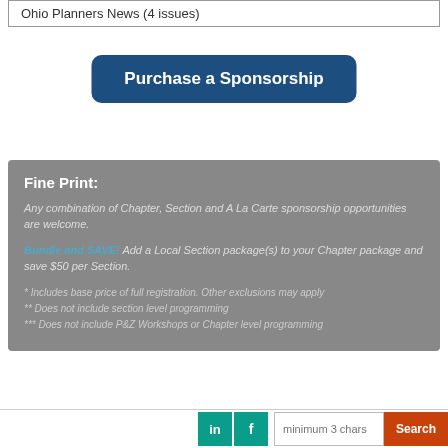Ohio Planners News (4 issues)
Purchase a Sponsorship
Fine Print:
Any combination of Chapter, Section and A La Carte sponsorship opportunities are welcome.
Bundle and SAVE! Add a Local Section package(s) to your Chapter package and save $50 per Section.
* Includes base price of full registration. Other exclusions may apply
** Does not include section level programming
*** Does not include P&Z Workshops or Chapter level programming
in  f  minimum 3 chars  Search